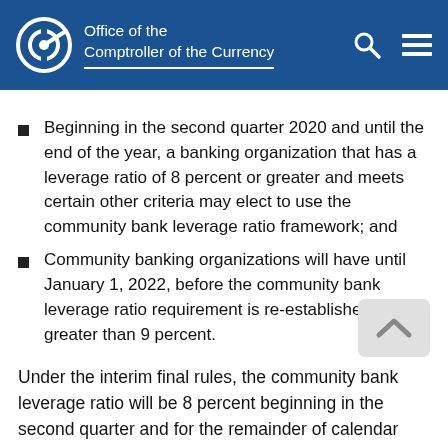Office of the Comptroller of the Currency
Beginning in the second quarter 2020 and until the end of the year, a banking organization that has a leverage ratio of 8 percent or greater and meets certain other criteria may elect to use the community bank leverage ratio framework; and
Community banking organizations will have until January 1, 2022, before the community bank leverage ratio requirement is re-established at greater than 9 percent.
Under the interim final rules, the community bank leverage ratio will be 8 percent beginning in the second quarter and for the remainder of calendar